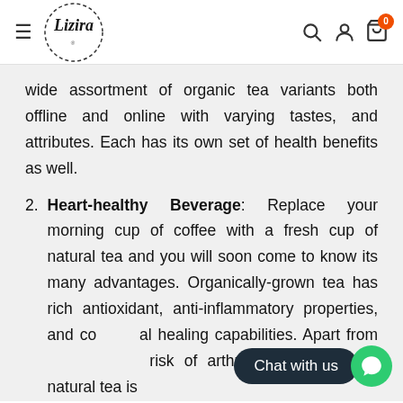Lizira — navigation header with hamburger menu, logo, search, account, and cart icons
wide assortment of organic tea variants both offline and online with varying tastes, and attributes. Each has its own set of health benefits as well.
2. Heart-healthy Beverage: Replace your morning cup of coffee with a fresh cup of natural tea and you will soon come to know its many advantages. Organically-grown tea has rich antioxidant, anti-inflammatory properties, and cardiovascular healing capabilities. Apart from reducing the risk of arthritis, and cataracts, natural tea is